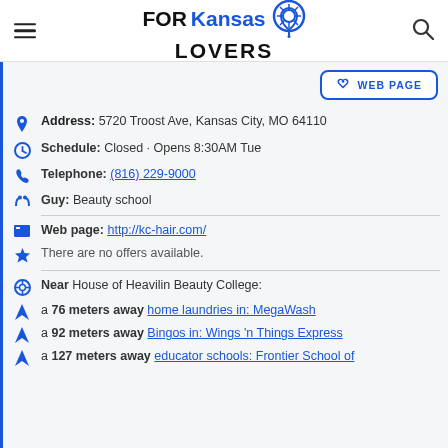FORKansas LOVERS
WEB PAGE
Address: 5720 Troost Ave, Kansas City, MO 64110
Schedule: Closed · Opens 8:30AM Tue
Telephone: (816) 229-9000
Guy: Beauty school
Web page: http://kc-hair.com/
There are no offers available.
Near House of Heavilin Beauty College:
a 76 meters away home laundries in: MegaWash
a 92 meters away Bingos in: Wings 'n Things Express
a 127 meters away educator schools: Frontier School of